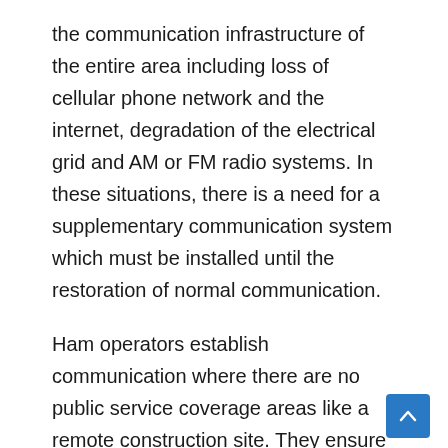the communication infrastructure of the entire area including loss of cellular phone network and the internet, degradation of the electrical grid and AM or FM radio systems. In these situations, there is a need for a supplementary communication system which must be installed until the restoration of normal communication.
Ham operators establish communication where there are no public service coverage areas like a remote construction site. They ensure constant contact with the management workers, monitor highways or bridges to ensure safety and collect data from damaged areas.
These operators cannot replace a communication system completely. However, they help to